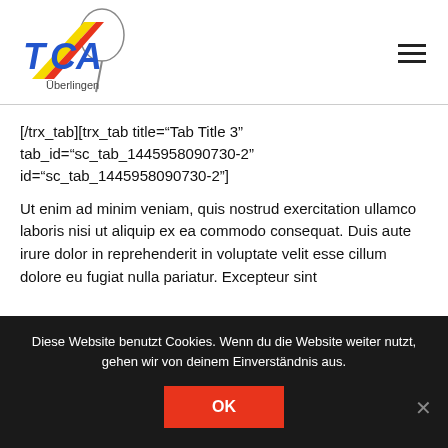[Figure (logo): TCA Überlingen tennis club logo with blue letters T, C, A, yellow and red diagonal stripe, tennis racket silhouette]
[/trx_tab][trx_tab title="Tab Title 3" tab_id="sc_tab_1445958090730-2" id="sc_tab_1445958090730-2"]
Ut enim ad minim veniam, quis nostrud exercitation ullamco laboris nisi ut aliquip ex ea commodo consequat. Duis aute irure dolor in reprehenderit in voluptate velit esse cillum dolore eu fugiat nulla pariatur. Excepteur sint
Diese Website benutzt Cookies. Wenn du die Website weiter nutzt, gehen wir von deinem Einverständnis aus.
OK